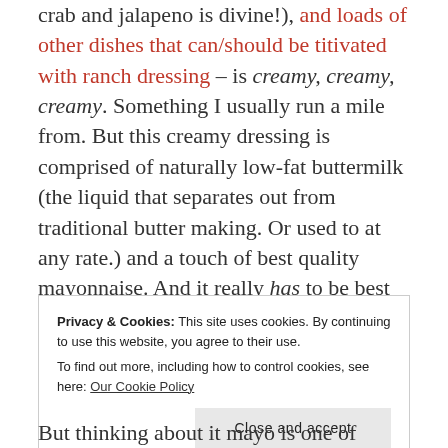crab and jalapeno is divine!), and loads of other dishes that can/should be titivated with ranch dressing – is creamy, creamy, creamy. Something I usually run a mile from. But this creamy dressing is comprised of naturally low-fat buttermilk (the liquid that separates out from traditional butter making. Or used to at any rate.) and a touch of best quality mayonnaise. And it really has to be best quality:
Privacy & Cookies: This site uses cookies. By continuing to use this website, you agree to their use. To find out more, including how to control cookies, see here: Our Cookie Policy
But thinking about it mayo is one of